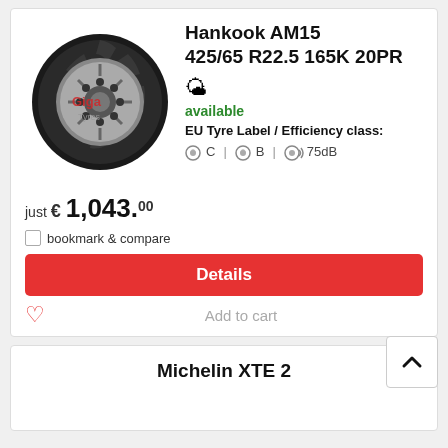[Figure (photo): Hankook AM15 truck tyre image with Giga Tyres watermark]
Hankook AM15 425/65 R22.5 165K 20PR
available
EU Tyre Label / Efficiency class:
C  B  75dB
just € 1,043.00
bookmark & compare
Details
Add to cart
Michelin XTE 2